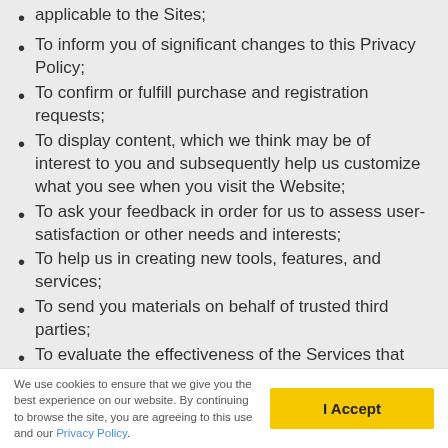applicable to the Sites;
To inform you of significant changes to this Privacy Policy;
To confirm or fulfill purchase and registration requests;
To display content, which we think may be of interest to you and subsequently help us customize what you see when you visit the Website;
To ask your feedback in order for us to assess user-satisfaction or other needs and interests;
To help us in creating new tools, features, and services;
To send you materials on behalf of trusted third parties;
To evaluate the effectiveness of the Services that we offer, both for our users and advertisers or sponsors;
For rendering, administering, and improving the Site…
We use cookies to ensure that we give you the best experience on our website. By continuing to browse the site, you are agreeing to this use and our Privacy Policy.